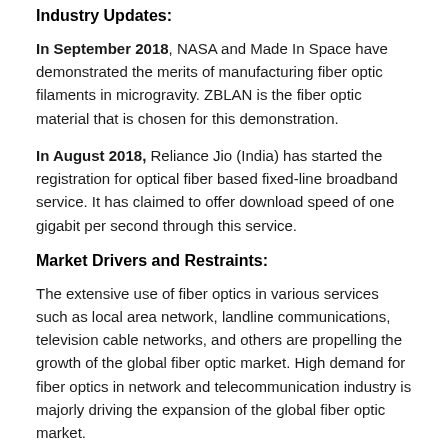Industry Updates:
In September 2018, NASA and Made In Space have demonstrated the merits of manufacturing fiber optic filaments in microgravity. ZBLAN is the fiber optic material that is chosen for this demonstration.
In August 2018, Reliance Jio (India) has started the registration for optical fiber based fixed-line broadband service. It has claimed to offer download speed of one gigabit per second through this service.
Market Drivers and Restraints:
The extensive use of fiber optics in various services such as local area network, landline communications, television cable networks, and others are propelling the growth of the global fiber optic market. High demand for fiber optics in network and telecommunication industry is majorly driving the expansion of the global fiber optic market.